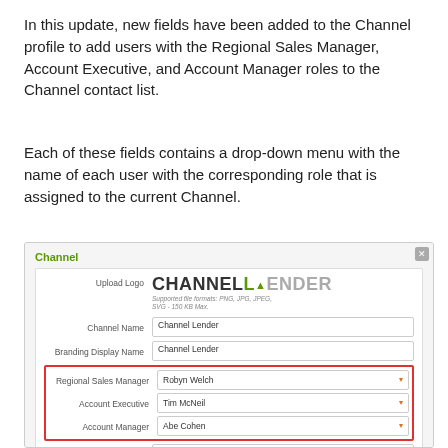In this update, new fields have been added to the Channel profile to add users with the Regional Sales Manager, Account Executive, and Account Manager roles to the Channel contact list.
Each of these fields contains a drop-down menu with the name of each user with the corresponding role that is assigned to the current Channel.
[Figure (screenshot): Screenshot of Channel profile form showing fields: Upload Logo (with ChannelLender logo), Channel Name (Channel Lender), Branding Display Name (Channel Lender), Regional Sales Manager (Robyn Welch), Account Executive (Tim McNeil), Account Manager (Abe Cohen) — these three highlighted with red border — and Production Assistant (Sofia Beckman).]